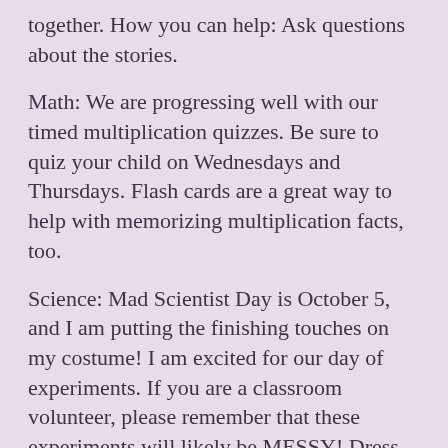together. How you can help: Ask questions about the stories.
Math: We are progressing well with our timed multiplication quizzes. Be sure to quiz your child on Wednesdays and Thursdays. Flash cards are a great way to help with memorizing multiplication facts, too.
Science: Mad Scientist Day is October 5, and I am putting the finishing touches on my costume! I am excited for our day of experiments. If you are a classroom volunteer, please remember that these experiments will likely be MESSY! Dress accordingly! [smiley]
Social Studies: The “Sunshine State